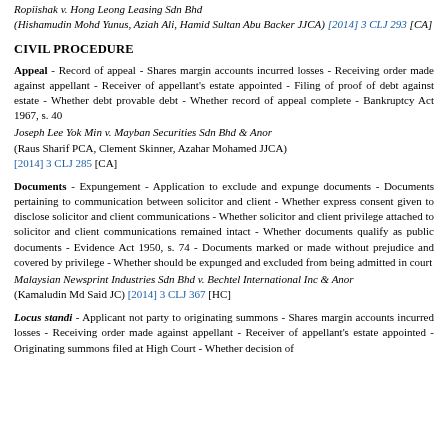Ropiishak v. Hong Leong Leasing Sdn Bhd (Hishamudin Mohd Yunus, Aziah Ali, Hamid Sultan Abu Backer JJCA) [2014] 3 CLJ 293 [CA]
CIVIL PROCEDURE
Appeal - Record of appeal - Shares margin accounts incurred losses - Receiving order made against appellant - Receiver of appellant's estate appointed - Filing of proof of debt against estate - Whether debt provable debt - Whether record of appeal complete - Bankruptcy Act 1967, s. 40
Joseph Lee Yok Min v. Mayban Securities Sdn Bhd & Anor
(Raus Sharif PCA, Clement Skinner, Azahar Mohamed JJCA)
[2014] 3 CLJ 285 [CA]
Documents - Expungement - Application to exclude and expunge documents - Documents pertaining to communication between solicitor and client - Whether express consent given to disclose solicitor and client communications - Whether solicitor and client privilege attached to solicitor and client communications remained intact - Whether documents qualify as public documents - Evidence Act 1950, s. 74 - Documents marked or made without prejudice and covered by privilege - Whether should be expunged and excluded from being admitted in court
Malaysian Newsprint Industries Sdn Bhd v. Bechtel International Inc & Anor
(Kamaludin Md Said JC) [2014] 3 CLJ 367 [HC]
Locus standi - Applicant not party to originating summons - Shares margin accounts incurred losses - Receiving order made against appellant - Receiver of appellant's estate appointed - Originating summons filed at High Court - Whether decision of